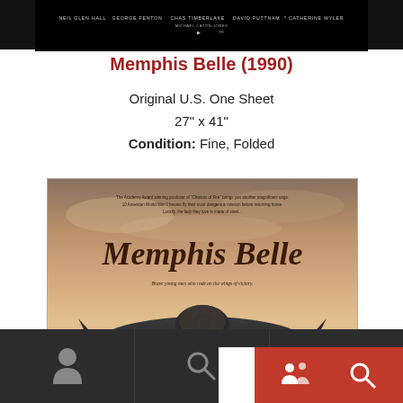[Figure (photo): Top portion of a movie poster for Memphis Belle (1990) showing a dark background with film credits in small text]
Memphis Belle (1990)
Original U.S. One Sheet
27" x 41"
Condition: Fine, Folded
[Figure (photo): Movie poster for Memphis Belle (1990) showing the title in large script lettering over a sunset sky background with a B-17 bomber airplane in the foreground. Text reads: 'The Academy Award winning producer of Chariots of Fire brings you another magnificent saga. 10 American World War II heroes fly their most dangerous mission before returning home. Luckily, the lady they love is made of steel.' Tagline: 'Brave young men who rode on the wings of victory']
[Figure (screenshot): Bottom navigation bar with dark background showing a person/user icon on the left, a search magnifying glass icon in the center, a white box and a red box with icons on the right side]